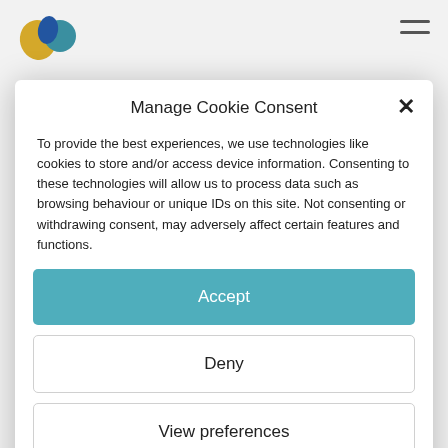[Figure (logo): Partial logo with yellow and teal/blue shapes visible at top left]
[Figure (other): Hamburger menu icon (two horizontal lines) at top right]
Manage Cookie Consent
To provide the best experiences, we use technologies like cookies to store and/or access device information. Consenting to these technologies will allow us to process data such as browsing behaviour or unique IDs on this site. Not consenting or withdrawing consent, may adversely affect certain features and functions.
Accept
Deny
View preferences
Cookie Policy   Privacy Policy
The mission of the Task Force has been to take stock and analyse the situation